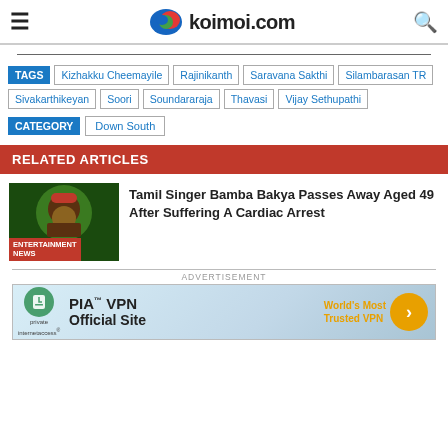koimoi.com
TAGS: Kizhakku Cheemayile, Rajinikanth, Saravana Sakthi, Silambarasan TR, Sivakarthikeyan, Soori, Soundararaja, Thavasi, Vijay Sethupathi
CATEGORY: Down South
RELATED ARTICLES
Tamil Singer Bamba Bakya Passes Away Aged 49 After Suffering A Cardiac Arrest
ENTERTAINMENT NEWS
ADVERTISEMENT
[Figure (screenshot): PIA VPN advertisement banner: Private Internet Access logo, PIA VPN Official Site text, World's Most Trusted VPN in orange, orange arrow button]